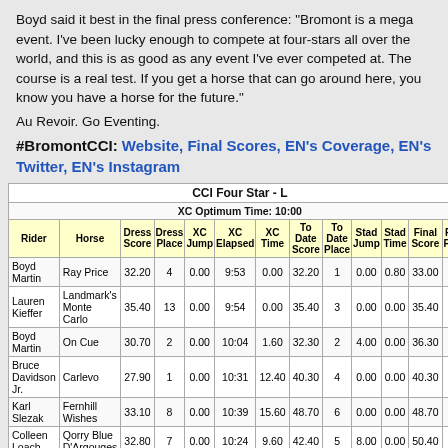Boyd said it best in the final press conference: "Bromont is a mega event. I've been lucky enough to compete at four-stars all over the world, and this is as good as any event I've ever competed at. The course is a real test. If you get a horse that can go around here, you know you have a horse for the future."
Au Revoir. Go Eventing.
#BromontCCI: Website, Final Scores, EN's Coverage, EN's Twitter, EN's Instagram
| Rider | Horse | Dress Score | Dress Place | XC Jump | XC Elapsed | XC Time | To Date Score | To Date Place | Stad Jump | Stad Time | Final Score | Final Place |
| --- | --- | --- | --- | --- | --- | --- | --- | --- | --- | --- | --- | --- |
| Boyd Martin | Ray Price | 32.20 | 4 | 0.00 | 9:53 | 0.00 | 32.20 | 1 | 0.00 | 0.80 | 33.00 | 1 |
| Lauren Kieffer | Landmark's Monte Carlo | 35.40 | 13 | 0.00 | 9:54 | 0.00 | 35.40 | 3 | 0.00 | 0.00 | 35.40 | 2 |
| Boyd Martin | On Cue | 30.70 | 2 | 0.00 | 10:04 | 1.60 | 32.30 | 2 | 4.00 | 0.00 | 36.30 | 3 |
| Bruce Davidson Jr. | Carlevo | 27.90 | 1 | 0.00 | 10:31 | 12.40 | 40.30 | 4 | 0.00 | 0.00 | 40.30 | 4 |
| Karl Slezak | Fernhill Wishes | 33.10 | 8 | 0.00 | 10:39 | 15.60 | 48.70 | 6 | 0.00 | 0.00 | 48.70 | 5 |
| Colleen Loach | Qorry Blue D'Argouges | 32.80 | 7 | 0.00 | 10:24 | 9.60 | 42.40 | 5 | 8.00 | 0.00 | 50.40 | 6 |
| Emilee Libby | Jakobi | 36.50 | 15 | 0.00 | 10:44 | 17.60 | 54.10 | 7 | 0.00 | 0.00 | 54.10 | 7 |